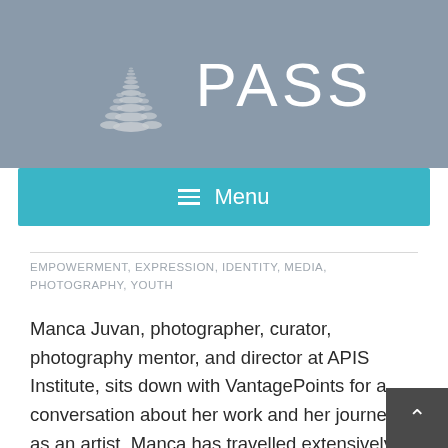[Figure (logo): PASS logo with dots/path graphic and large white PASS text on gray background]
Menu
EMPOWERMENT, EXPRESSION, IDENTITY, MEDIA, PHOTOGRAPHY, YOUTH
Manca Juvan, photographer, curator, photography mentor, and director at APIS Institute, sits down with VantagePoints for a conversation about her work and her journey as an artist. Manca has travelled extensively and used photography as a tool for experiencing and learning about the places she has travelled to. Above all else, Manca is a storyteller. Her most well known projects, "Guardians of the Spoon" and "Unordinary Lives", share a new perspective on